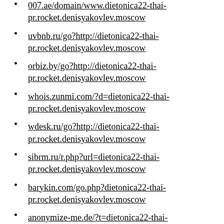007.ae/domain/www.dietonica22-thai-pr.rocket.denisyakovlev.moscow
uvbnb.ru/go?http://dietonica22-thai-pr.rocket.denisyakovlev.moscow
orbiz.by/go?http://dietonica22-thai-pr.rocket.denisyakovlev.moscow
whois.zunmi.com/?d=dietonica22-thai-pr.rocket.denisyakovlev.moscow
wdesk.ru/go?http://dietonica22-thai-pr.rocket.denisyakovlev.moscow
sibrm.ru/r.php?url=dietonica22-thai-pr.rocket.denisyakovlev.moscow
barykin.com/go.php?dietonica22-thai-pr.rocket.denisyakovlev.moscow
anonymize-me.de/?t=dietonica22-thai-pr.rocket.denisyakovlev.moscow
prank.su/go?http://dietonica22-thai-pr.rocket.denisyakovlev.moscow
gvo.tc/?url=http://dietonica22-thai- (partial)